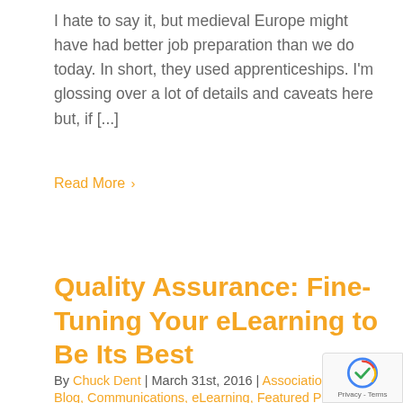I hate to say it, but medieval Europe might have had better job preparation than we do today. In short, they used apprenticeships. I'm glossing over a lot of details and caveats here but, if [...]
Read More ›
Quality Assurance: Fine-Tuning Your eLearning to Be Its Best
By Chuck Dent | March 31st, 2016 | Association eLearning Blog, Communications, eLearning, Featured Post, Featured...